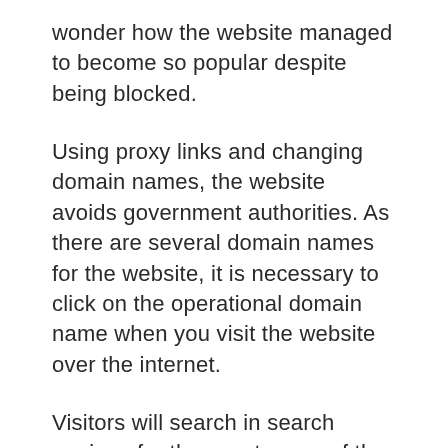wonder how the website managed to become so popular despite being blocked.
Using proxy links and changing domain names, the website avoids government authorities. As there are several domain names for the website, it is necessary to click on the operational domain name when you visit the website over the internet.
Visitors will search in search engines for the exact name of the website. This is why the owners need to ensure that the domain name they choose ends up reflecting the name of their website. Furthermore, proxy links offer good support for pirated websites.